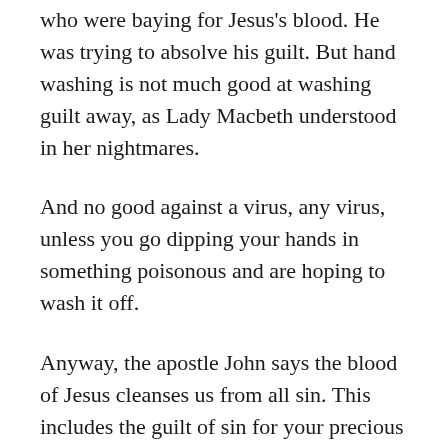who were baying for Jesus's blood. He was trying to absolve his guilt. But hand washing is not much good at washing guilt away, as Lady Macbeth understood in her nightmares.
And no good against a virus, any virus, unless you go dipping your hands in something poisonous and are hoping to wash it off.
Anyway, the apostle John says the blood of Jesus cleanses us from all sin. This includes the guilt of sin for your precious soul. All you need to do is admit your guilt and ask God the Father for forgiveness. Then go and follow Jesus, putting things right as you go. This is the meaning of being saved.